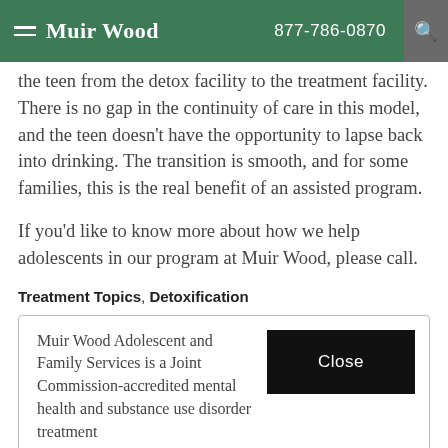Muir Wood | 877-786-0870
the teen from the detox facility to the treatment facility. There is no gap in the continuity of care in this model, and the teen doesn't have the opportunity to lapse back into drinking. The transition is smooth, and for some families, this is the real benefit of an assisted program.
If you'd like to know more about how we help adolescents in our program at Muir Wood, please call.
Treatment Topics, Detoxification
Muir Wood Adolescent and Family Services is a Joint Commission-accredited mental health and substance use disorder treatment